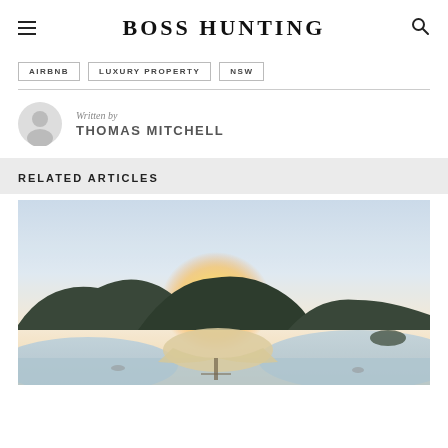BOSS HUNTING
AIRBNB
LUXURY PROPERTY
NSW
Written by
THOMAS MITCHELL
RELATED ARTICLES
[Figure (photo): Aerial sunset photo of a tropical island peninsula with sandy beach, lush green hills, calm ocean water, boats visible, and a pier extending into water.]